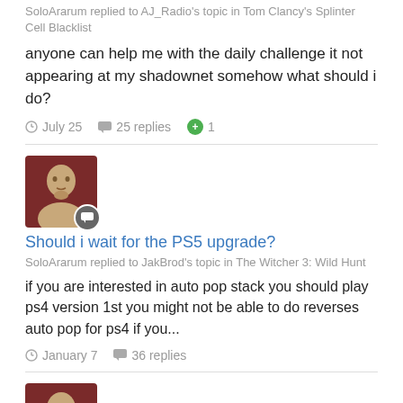SoloArarum replied to AJ_Radio's topic in Tom Clancy's Splinter Cell Blacklist
anyone can help me with the daily challenge it not appearing at my shadownet somehow what should i do?
July 25   25 replies   +1
[Figure (photo): User avatar showing a bald muscular figure on dark red background with chat bubble badge overlay]
Should i wait for the PS5 upgrade?
SoloArarum replied to JakBrod's topic in The Witcher 3: Wild Hunt
if you are interested in auto pop stack you should play ps4 version 1st you might not be able to do reverses auto pop for ps4 if you...
January 7   36 replies
[Figure (photo): User avatar showing a bald muscular figure on dark red background with chat bubble badge overlay]
Mein Leben Runs.
SoloArarum replied to Darkette's topic in Wolfenstein II: The New